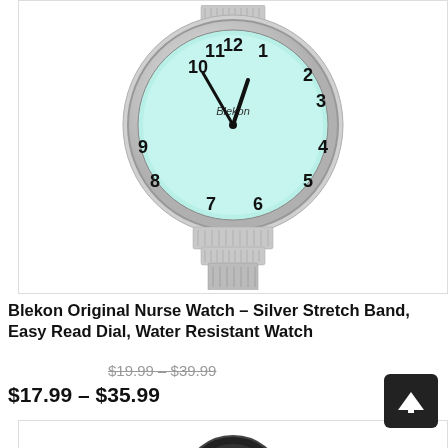[Figure (photo): Blekon nurse watch with silver stretch band and mint/teal dial showing large numerals and 24-hour markings]
Blekon Original Nurse Watch – Silver Stretch Band, Easy Read Dial, Water Resistant Watch
$19.99 – $39.99 (original price, struck through)
$17.99 – $35.99
[Figure (photo): Second product image partially visible at bottom showing a dark/black watch]